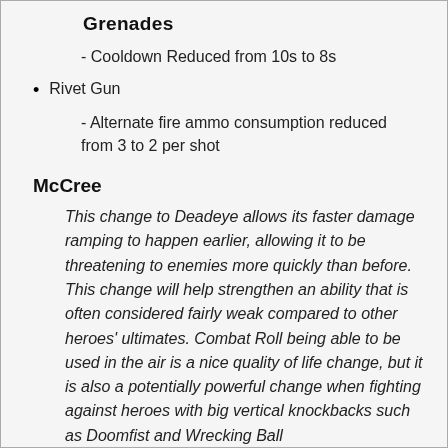- Cooldown Reduced from 10s to 8s
Rivet Gun
- Alternate fire ammo consumption reduced from 3 to 2 per shot
McCree
This change to Deadeye allows its faster damage ramping to happen earlier, allowing it to be threatening to enemies more quickly than before. This change will help strengthen an ability that is often considered fairly weak compared to other heroes' ultimates. Combat Roll being able to be used in the air is a nice quality of life change, but it is also a potentially powerful change when fighting against heroes with big vertical knockbacks such as Doomfist and Wrecking Ball...